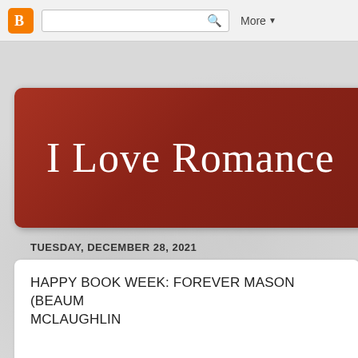Blogger nav bar with search box and More button
I Love Romance
TUESDAY, DECEMBER 28, 2021
HAPPY BOOK WEEK: FOREVER MASON (BEAUM... MCLAUGHLIN